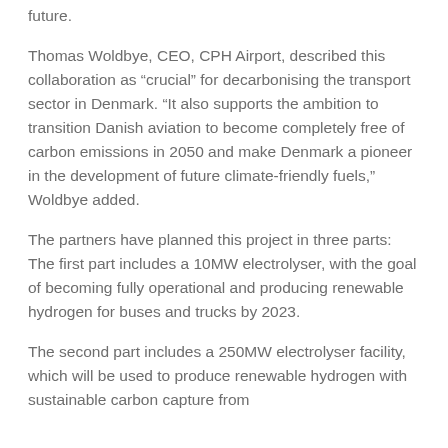future.
Thomas Woldbye, CEO, CPH Airport, described this collaboration as “crucial” for decarbonising the transport sector in Denmark. “It also supports the ambition to transition Danish aviation to become completely free of carbon emissions in 2050 and make Denmark a pioneer in the development of future climate-friendly fuels,” Woldbye added.
The partners have planned this project in three parts: The first part includes a 10MW electrolyser, with the goal of becoming fully operational and producing renewable hydrogen for buses and trucks by 2023.
The second part includes a 250MW electrolyser facility, which will be used to produce renewable hydrogen with sustainable carbon capture from